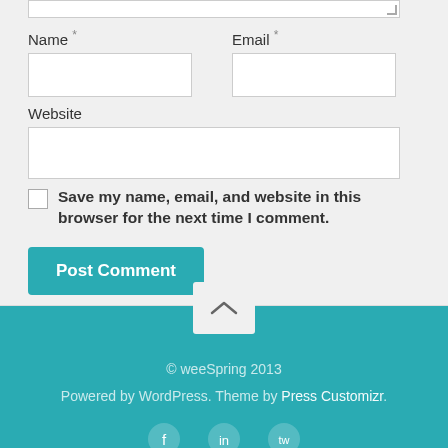Name *
Email *
Website
Save my name, email, and website in this browser for the next time I comment.
Post Comment
© weeSpring 2013
Powered by WordPress. Theme by Press Customizr.